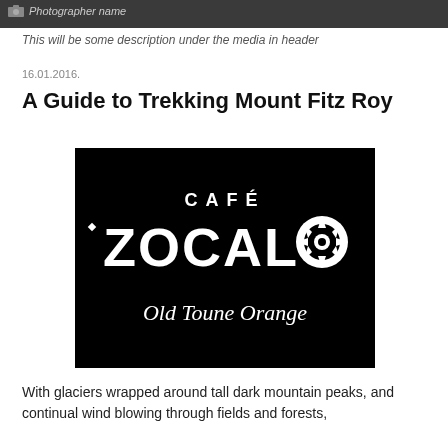Photographer name
This will be some description under the media in header
16.01.2016.
A Guide to Trekking Mount Fitz Roy
[Figure (logo): Café Zocalo Old Toune Orange logo — white text on black background]
With glaciers wrapped around tall dark mountain peaks, and continual wind blowing through fields and forests,